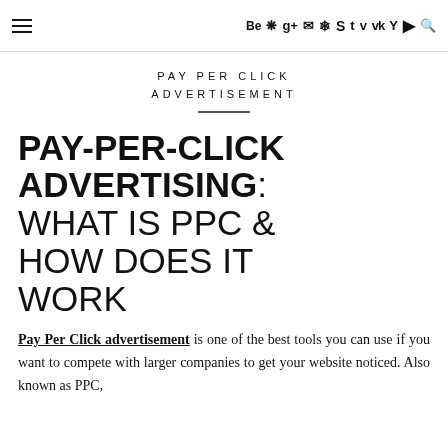≡  Be  flickr  g+  ✉  pinterest  skype  t  vimeo  vk  Y  youtube  🔍
PAY PER CLICK ADVERTISEMENT
PAY-PER-CLICK ADVERTISING: WHAT IS PPC & HOW DOES IT WORK
Pay Per Click advertisement is one of the best tools you can use if you want to compete with larger companies to get your website noticed. Also known as PPC,